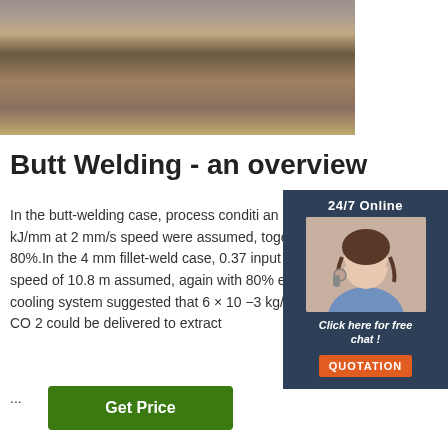[Figure (photo): Industrial welding or cutting machine operating on a metal surface in a workshop/factory setting]
[Figure (other): 24/7 Online chat widget with a customer service representative wearing a headset, with 'Click here for free chat!' text and a QUOTATION button]
Butt Welding - an overview
In the butt-welding case, process conditi an input energy of 0.2 kJ/mm at 2 mm/s speed were assumed, together with an e of 80%.In the 4 mm fillet-weld case, 0.37 input energy at a travel speed of 10.8 mm assumed, again with 80% efficiency.Tria cooling system suggested that 6 × 10 −3 kg/s delivery of solid CO 2 could be delivered to extract
...
Get Price